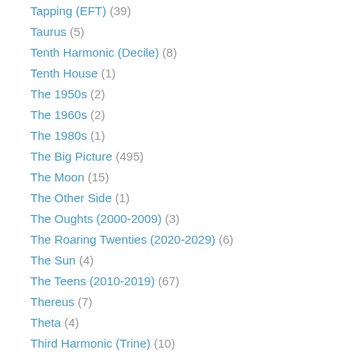Tapping (EFT) (39)
Taurus (5)
Tenth Harmonic (Decile) (8)
Tenth House (1)
The 1950s (2)
The 1960s (2)
The 1980s (1)
The Big Picture (495)
The Moon (15)
The Other Side (1)
The Oughts (2000-2009) (3)
The Roaring Twenties (2020-2029) (6)
The Sun (4)
The Teens (2010-2019) (67)
Thereus (7)
Theta (4)
Third Harmonic (Trine) (10)
Thirteenth Harmonic (3)
Thoughts (7)
Thoughts about Emotions (1)